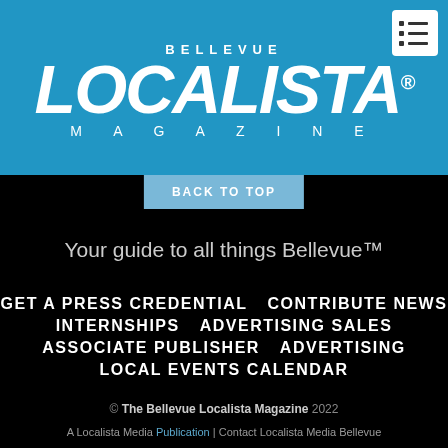BELLEVUE LOCALISTA® MAGAZINE
BACK TO TOP
Your guide to all things Bellevue™
GET A PRESS CREDENTIAL
CONTRIBUTE NEWS
INTERNSHIPS
ADVERTISING SALES
ASSOCIATE PUBLISHER
ADVERTISING
LOCAL EVENTS CALENDAR
© The Bellevue Localista Magazine 2022
A Localista Media Publication | Contact Localista Media Bellevue